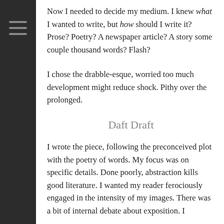Now I needed to decide my medium. I knew what I wanted to write, but how should I write it? Prose? Poetry? A newspaper article? A story some couple thousand words? Flash?
I chose the drabble-esque, worried too much development might reduce shock. Pithy over the prolonged.
Daft Draft
I wrote the piece, following the preconceived plot with the poetry of words. My focus was on specific details. Done poorly, abstraction kills good literature. I wanted my reader ferociously engaged in the intensity of my images. There was a bit of internal debate about exposition. I